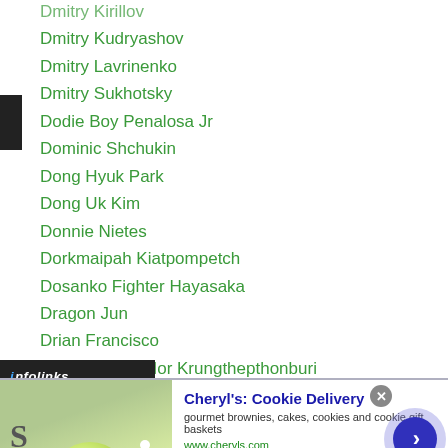Dmitry Kirillov
Dmitry Kudryashov
Dmitry Lavrinenko
Dmitry Sukhotsky
Dodie Boy Penalosa Jr
Dominic Shchukin
Dong Hyuk Park
Dong Uk Kim
Donnie Nietes
Dorkmaipah Kiatpompetch
Dosanko Fighter Hayasaka
Dragon Jun
Drian Francisco
Eakkhunphol Mor Krungthepthonburi
Eakkreenkrai Mor Krungthep Thonburi
Eden Sonsona
...Gabeian
[Figure (screenshot): Advertisement overlay: Cheryl's Cookie Delivery ad with image of cookies/lime, close button, and arrow button]